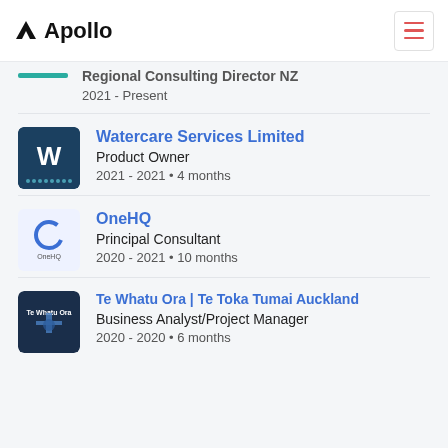Apollo
Regional Consulting Director NZ
2021 - Present
Watercare Services Limited
Product Owner
2021 - 2021 • 4 months
OneHQ
Principal Consultant
2020 - 2021 • 10 months
Te Whatu Ora | Te Toka Tumai Auckland
Business Analyst/Project Manager
2020 - 2020 • 6 months